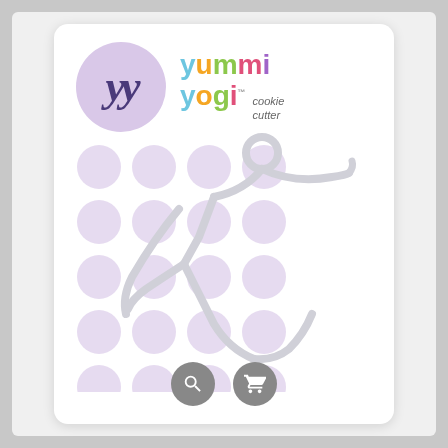[Figure (photo): Product photo of Yummi Yogi cookie cutter packaging. White card with lavender circle logo showing 'yy' letters, colorful brand name 'yummi yogi cookie cutter' text, and a stainless steel yoga-pose-shaped cookie cutter in the center. Background has lavender polka dot pattern. Two gray circular icon buttons (search and cart) at the bottom.]